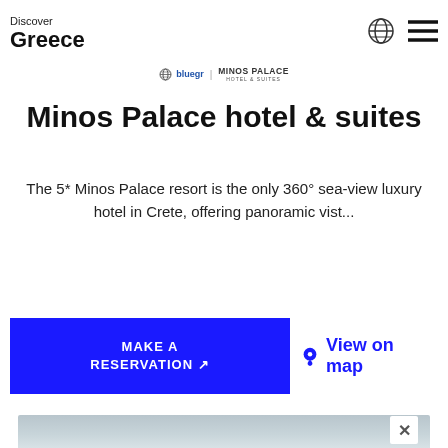Discover Greece
[Figure (logo): bluegr | MINOS PALACE HOTEL & SUITES sponsor logo with globe icon]
Minos Palace hotel & suites
The 5* Minos Palace resort is the only 360° sea-view luxury hotel in Crete, offering panoramic vist...
MAKE A RESERVATION
View on map
[Figure (screenshot): Bottom portion of a map or image partially visible]